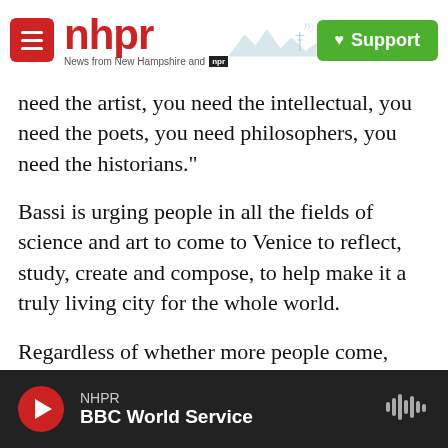NHPR – News from New Hampshire and NPR | Support
need the artist, you need the intellectual, you need the poets, you need philosophers, you need the historians."
Bassi is urging people in all the fields of science and art to come to Venice to reflect, study, create and compose, to help make it a truly living city for the whole world.
Regardless of whether more people come, though, many Venetians fear there is a serious danger the prediction made by Lord Byron two centuries ago could come true;
NHPR – BBC World Service